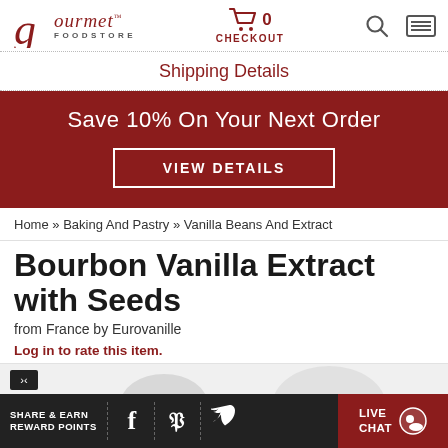gourmet FOODSTORE — CHECKOUT 0 — [search] [menu]
Shipping Details
[Figure (infographic): Dark red promotional banner reading 'Save 10% On Your Next Order' with a 'VIEW DETAILS' button outlined in white]
Home » Baking And Pastry » Vanilla Beans And Extract
Bourbon Vanilla Extract with Seeds
from France by Eurovanille
Log in to rate this item.
[Figure (photo): Partial product image with light grey circular shapes on a light grey background]
SHARE & EARN REWARD POINTS [facebook] [pinterest] [twitter] | LIVE CHAT